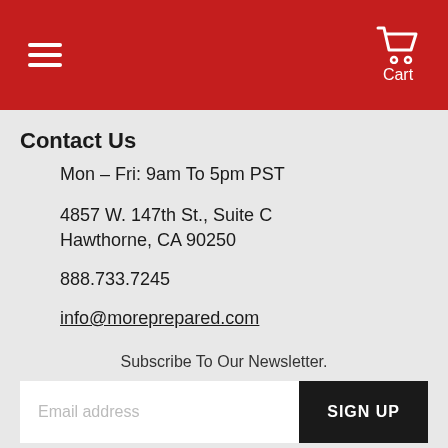Menu | Cart
Contact Us
Mon – Fri: 9am To 5pm PST
4857 W. 147th St., Suite C
Hawthorne, CA 90250
888.733.7245
info@moreprepared.com
Subscribe To Our Newsletter.
100%